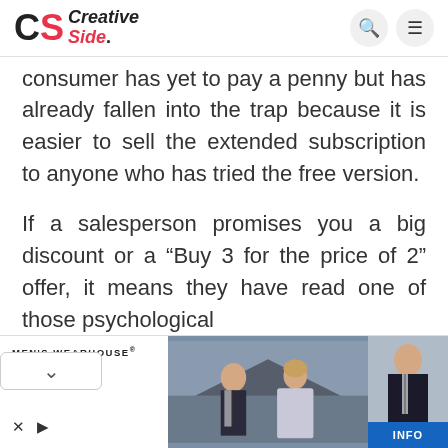CS Creative Side.
consumer has yet to pay a penny but has already fallen into the trap because it is easier to sell the extended subscription to anyone who has tried the free version.
If a salesperson promises you a big discount or a “Buy 3 for the price of 2” offer, it means they have read one of those psychological ts and are trying to get a foot in your
[Figure (photo): Advertisement banner for Men's Wearhouse featuring a couple in formal/wedding attire and a man in a suit, with INFO button and brand tagline 'New Lower Prices']